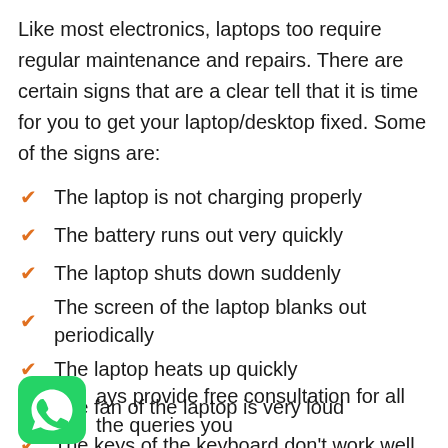Like most electronics, laptops too require regular maintenance and repairs. There are certain signs that are a clear tell that it is time for you to get your laptop/desktop fixed. Some of the signs are:
The laptop is not charging properly
The battery runs out very quickly
The laptop shuts down suddenly
The screen of the laptop blanks out periodically
The laptop heats up quickly
The fan of the laptop is very loud
The keys of the keyboard don't work well
Your laptop is infected by viruses
There is physical damage to your laptop
[Figure (logo): WhatsApp logo icon — green rounded square with white phone handset]
ays provide free consultation for all the queries you